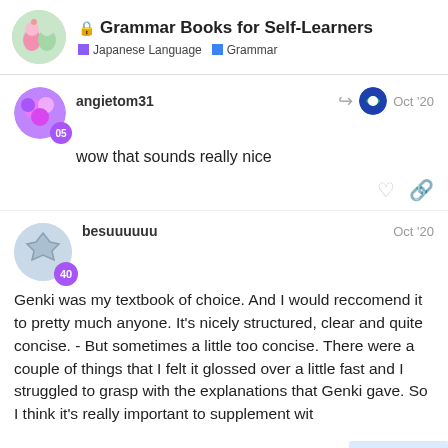🔒 Grammar Books for Self-Learners | Japanese Language | Grammar
angietom31 — Oct '20
wow that sounds really nice
besuuuuuu — Oct '20
Genki was my textbook of choice. And I would reccomend it to pretty much anyone. It's nicely structured, clear and quite concise. - But sometimes a little too concise. There were a couple of things that I felt it glossed over a little fast and I struggled to grasp with the explanations that Genki gave. So I think it's really important to supplement wit...

I'm surprised no-one has mentioned Tae K...